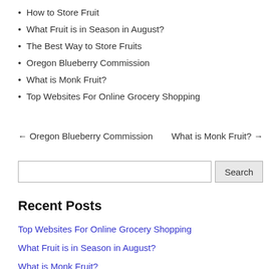How to Store Fruit
What Fruit is in Season in August?
The Best Way to Store Fruits
Oregon Blueberry Commission
What is Monk Fruit?
Top Websites For Online Grocery Shopping
← Oregon Blueberry Commission    What is Monk Fruit? →
[Search input] [Search button]
Recent Posts
Top Websites For Online Grocery Shopping
What Fruit is in Season in August?
What is Monk Fruit?